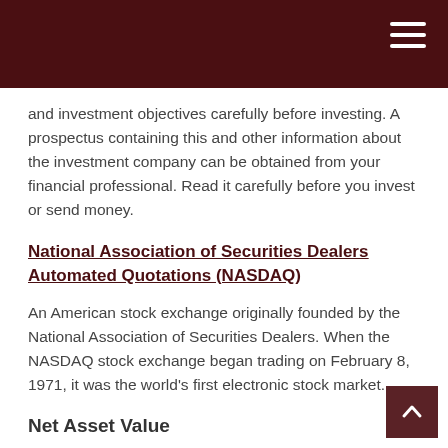and investment objectives carefully before investing. A prospectus containing this and other information about the investment company can be obtained from your financial professional. Read it carefully before you invest or send money.
National Association of Securities Dealers Automated Quotations (NASDAQ)
An American stock exchange originally founded by the National Association of Securities Dealers. When the NASDAQ stock exchange began trading on February 8, 1971, it was the world's first electronic stock market.
Net Asset Value
The net market value of a mutual fund's current holdings divided by the number of outstanding shares. The product of this division estimates the per share